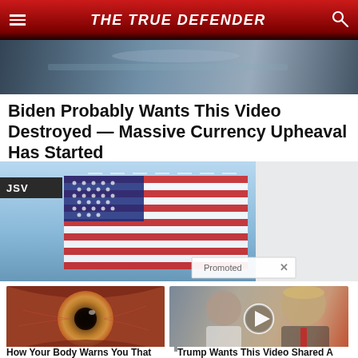THE TRUE DEFENDER
[Figure (photo): Top banner image showing a dark vehicle or road scene]
Biden Probably Wants This Video Destroyed — Massive Currency Upheaval Has Started
[Figure (photo): American flag waving against blue sky with JSV label and Promoted badge]
[Figure (photo): Close-up macro photo of a human eye]
How Your Body Warns You That Dementia Is Forming
36,227
[Figure (photo): Photo of Melania and Donald Trump with a video play button overlay]
Trump Wants This Video Shared A Million Times — Watch Now Before It's Banned!
29,922